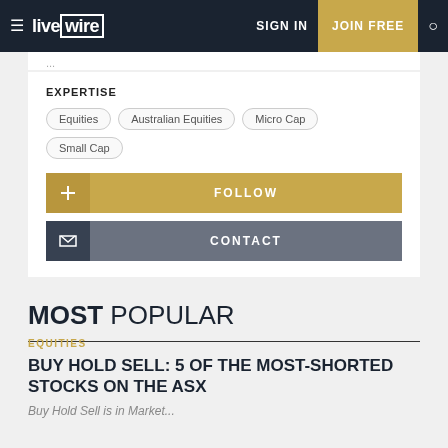live wire — SIGN IN | JOIN FREE
EXPERTISE
Equities
Australian Equities
Micro Cap
Small Cap
FOLLOW
CONTACT
MOST POPULAR
EQUITIES
BUY HOLD SELL: 5 OF THE MOST-SHORTED STOCKS ON THE ASX
Buy Hold Sell is in Market...